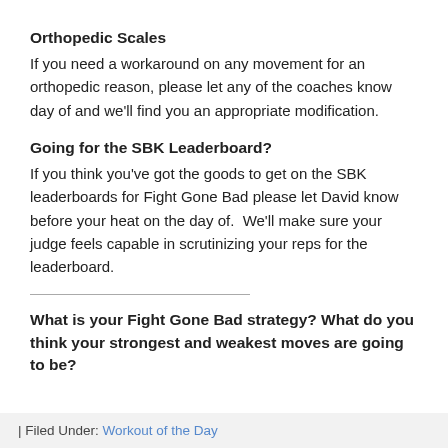Orthopedic Scales
If you need a workaround on any movement for an orthopedic reason, please let any of the coaches know day of and we'll find you an appropriate modification.
Going for the SBK Leaderboard?
If you think you've got the goods to get on the SBK leaderboards for Fight Gone Bad please let David know before your heat on the day of.  We'll make sure your judge feels capable in scrutinizing your reps for the leaderboard.
What is your Fight Gone Bad strategy? What do you think your strongest and weakest moves are going to be?
| Filed Under: Workout of the Day